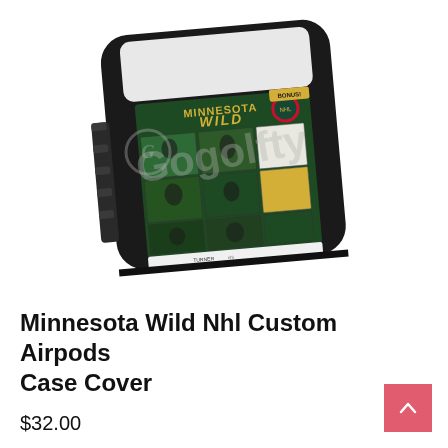[Figure (photo): Product photo of a Minnesota Wild NHL Custom Airpods Case Cover — a black AirPods case with a green team calendar/photo collage wrap featuring 'MINNESOTA WILD' text and player images. A watermark reading 'Gogolfty' is overlaid in gray. The case is shown at an angle on a white background.]
Minnesota Wild Nhl Custom Airpods Case Cover
$32.00
This is a brand new Airpods (Not Apple Airpods) with custom personalized case cover. Airpods case can be